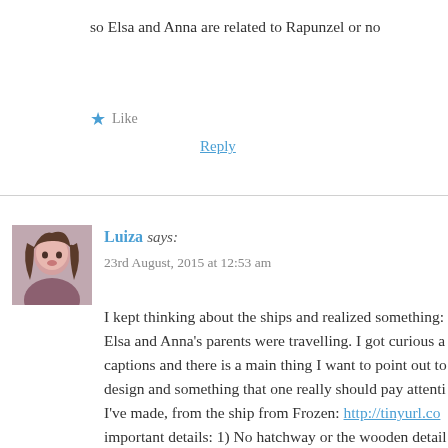so Elsa and Anna are related to Rapunzel or no
★ Like
Reply
Luiza says:
23rd August, 2015 at 12:53 am
I kept thinking about the ships and realized something: Elsa and Anna's parents were travelling. I got curious a captions and there is a main thing I want to point out to design and something that one really should pay attenti I've made, from the ship from Frozen: http://tinyurl.co important details: 1) No hatchway or the wooden detail Little mermaid (Which, also, it's what Ariel goes throu http://tinyurl.com/oejt7rp. And, on an open plan from t the second detail: http://tinyurl.com/p9nd4lz. Near the